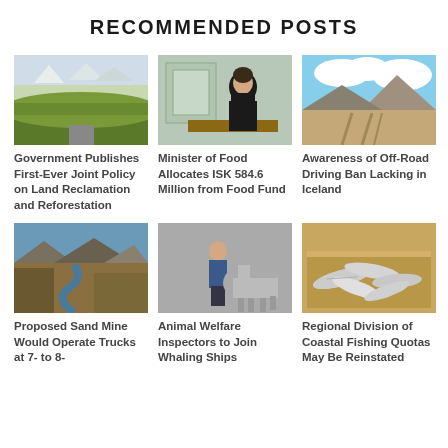RECOMMENDED POSTS
[Figure (photo): Landscape with green vegetation and snow-capped mountains in Iceland]
[Figure (photo): Woman in black seated at a desk speaking]
[Figure (photo): Arid landscape with tire tracks in Iceland]
Government Publishes First-Ever Joint Policy on Land Reclamation and Reforestation
Minister of Food Allocates ISK 584.6 Million from Food Fund
Awareness of Off-Road Driving Ban Lacking in Iceland
[Figure (photo): Aerial view of river winding through Icelandic highlands]
[Figure (photo): Person standing with a horse in grey landscape]
[Figure (photo): Box of dried fish/cod]
Proposed Sand Mine Would Operate Trucks at 7- to 8-
Animal Welfare Inspectors to Join Whaling Ships
Regional Division of Coastal Fishing Quotas May Be Reinstated